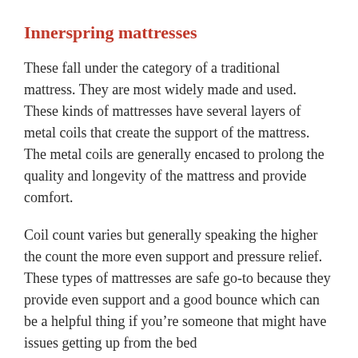Innerspring mattresses
These fall under the category of a traditional mattress. They are most widely made and used. These kinds of mattresses have several layers of metal coils that create the support of the mattress. The metal coils are generally encased to prolong the quality and longevity of the mattress and provide comfort.
Coil count varies but generally speaking the higher the count the more even support and pressure relief. These types of mattresses are safe go-to because they provide even support and a good bounce which can be a helpful thing if you’re someone that might have issues getting up from the bed
Memory foam mattress
Over the last decade or so, memory foam has become a